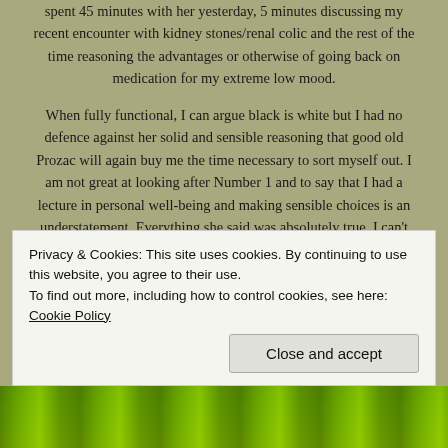spent 45 minutes with her yesterday, 5 minutes discussing my recent encounter with kidney stones/renal colic and the rest of the time reasoning the advantages or otherwise of going back on medication for my extreme low mood.
When fully functional, I can argue black is white but I had no defence against her solid and sensible reasoning that good old Prozac will again buy me the time necessary to sort myself out. I am not great at looking after Number 1 and to say that I had a lecture in personal well-being and making sensible choices is an understatement. Everything she said was absolutely true. I can't deny that but sadly I am not in the position to do what I need to do to recover from this dreadful illness once and for all.
For now, I have to deal with it with the help of chemical intervention (Fluoxetine) and more counselling/talking therapy until such time that I
Privacy & Cookies: This site uses cookies. By continuing to use this website, you agree to their use.
To find out more, including how to control cookies, see here: Cookie Policy
Close and accept
[Figure (photo): A strip of yellow-green foliage/flowers at the bottom of the page]